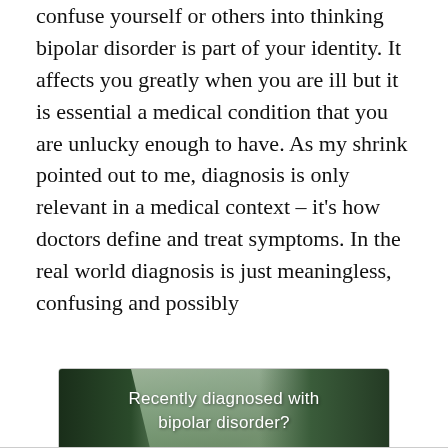confuse yourself or others into thinking bipolar disorder is part of your identity. It affects you greatly when you are ill but it is essential a medical condition that you are unlucky enough to have. As my shrink pointed out to me, diagnosis is only relevant in a medical context – it's how doctors define and treat symptoms. In the real world diagnosis is just meaningless, confusing and possibly
[Figure (photo): Advertisement banner showing a forest landscape with a river and path, with text 'Recently diagnosed with bipolar disorder? DOWNLOAD OUR FREE EBOOK NOW.' overlaid on the image.]
advertisement